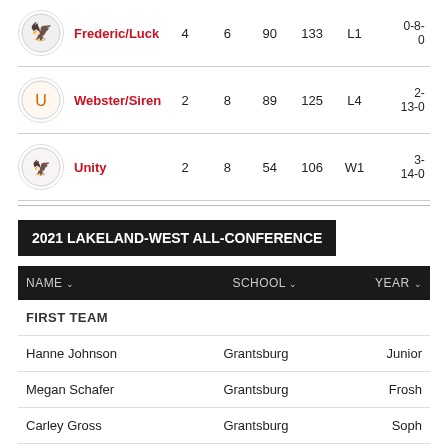| Team | W | L | PF | PA | Streak | Record |
| --- | --- | --- | --- | --- | --- | --- |
| Frederic/Luck | 4 | 6 | 90 | 133 | L1 | 0-8-0 |
| Webster/Siren | 2 | 8 | 89 | 125 | L4 | 2-13-0 |
| Unity | 2 | 8 | 54 | 106 | W1 | 3-14-0 |
2021 LAKELAND-WEST ALL-CONFERENCE
| NAME | SCHOOL | YEAR |
| --- | --- | --- |
| FIRST TEAM |  |  |
| Hanne Johnson | Grantsburg | Junior |
| Megan Schafer | Grantsburg | Frosh |
| Carley Gross | Grantsburg | Soph |